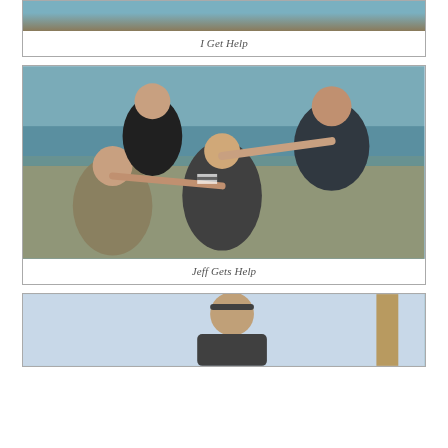[Figure (photo): Partial photo at top of page showing people climbing a muddy wall obstacle course, cropped at top]
I Get Help
[Figure (photo): Photo of multiple people helping each other over a large wooden/blue wall obstacle during a mud run or Tough Mudder-style event. Several people on top of the wall reach down to pull up others below.]
Jeff Gets Help
[Figure (photo): Partial photo at bottom of page showing a man with a headband in an outdoor obstacle course setting, looking down, cropped at bottom]